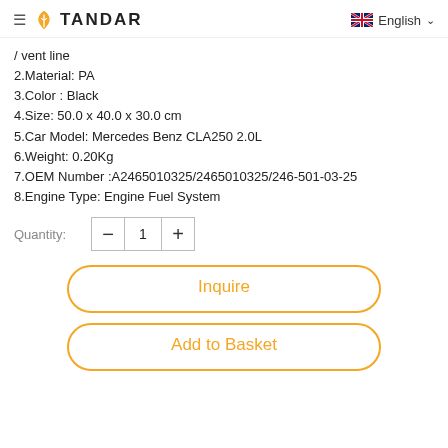≡ TANDAR   English
/ vent line
2.Material: PA
3.Color : Black
4.Size: 50.0 x 40.0 x 30.0 cm
5.Car Model: Mercedes Benz CLA250 2.0L
6.Weight: 0.20Kg
7.OEM Number :A2465010325/2465010325/246-501-03-25
8.Engine Type: Engine Fuel System
Quantity: 1
Inquire
Add to Basket